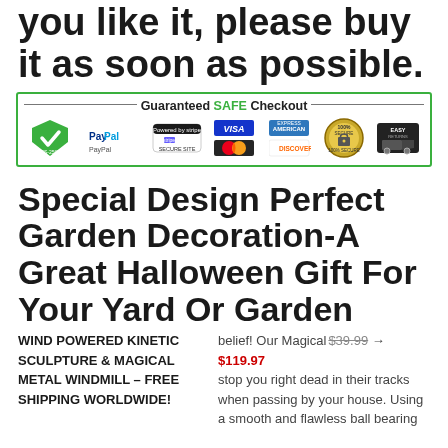you like it, please buy it as soon as possible.
[Figure (infographic): Guaranteed SAFE Checkout banner with payment icons: AES-256bit shield, PayPal, Stripe, VISA, Mastercard, American Express, Discover, 100% Secure badge, Easy Returns truck icon]
Special Design Perfect Garden Decoration-A Great Halloween Gift For Your Yard Or Garden
WIND POWERED KINETIC SCULPTURE & MAGICAL METAL WINDMILL - FREE SHIPPING WORLDWIDE!
belief! Our Magical... $39.99 → $119.97 ...stop you right dead in their tracks when passing by your house. Using a smooth and flawless ball bearing